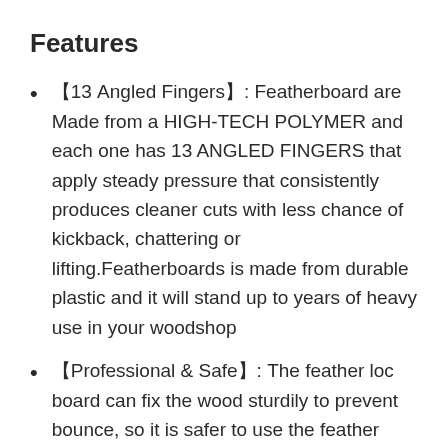Features
【13 Angled Fingers】: Featherboard are Made from a HIGH-TECH POLYMER and each one has 13 ANGLED FINGERS that apply steady pressure that consistently produces cleaner cuts with less chance of kickback, chattering or lifting.Featherboards is made from durable plastic and it will stand up to years of heavy use in your woodshop
【Professional & Safe】: The feather loc board can fix the wood sturdily to prevent bounce, so it is safer to use the feather board, and you don't need put your hands too close to the saw blade during the